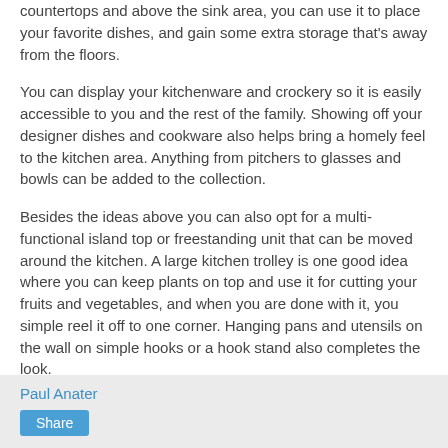countertops and above the sink area, you can use it to place your favorite dishes, and gain some extra storage that's away from the floors.
You can display your kitchenware and crockery so it is easily accessible to you and the rest of the family. Showing off your designer dishes and cookware also helps bring a homely feel to the kitchen area. Anything from pitchers to glasses and bowls can be added to the collection.
Besides the ideas above you can also opt for a multi-functional island top or freestanding unit that can be moved around the kitchen. A large kitchen trolley is one good idea where you can keep plants on top and use it for cutting your fruits and vegetables, and when you are done with it, you simple reel it off to one corner. Hanging pans and utensils on the wall on simple hooks or a hook stand also completes the look.
Paul Anater  Share